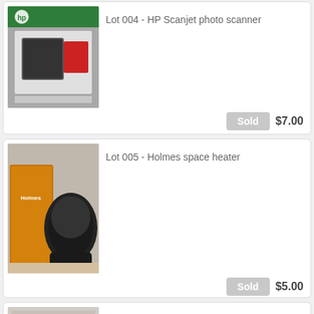[Figure (photo): HP Scanjet photo scanner box on a wooden surface]
Lot 004 - HP Scanjet photo scanner
Sold  $7.00
[Figure (photo): Holmes space heater with original box]
Lot 005 - Holmes space heater
Sold  $5.00
[Figure (photo): Husky tool bag with tools inside]
Lot 006 - Husky tool bag with tools